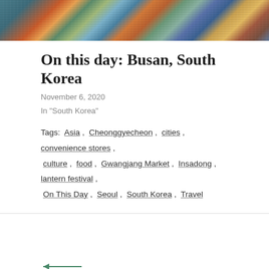[Figure (photo): Aerial/overhead photo of a densely packed colorful neighborhood in South Korea (Busan), showing rooftops of blue, red, orange, yellow, and teal buildings]
On this day: Busan, South Korea
November 6, 2020
In "South Korea"
Tags:  Asia ,  Cheonggyecheon ,  cities ,  convenience stores ,  culture ,  food ,  Gwangjang Market ,  Insadong ,  lantern festival ,  On This Day ,  Seoul ,  South Korea ,  Travel
Sunday Funday: Signs around the world